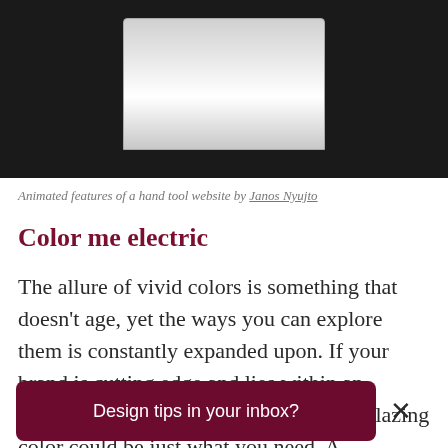[Figure (screenshot): Dark background with a laptop/device screen showing a gradient rectangle, representing animated features of a hand tool website.]
Animated features of a hand tool website by Janos Nyujto
Color me electric
The allure of vivid colors is something that doesn’t age, yet the ways you can explore them is constantly expanded upon. If your brand is cutting edge and lies within an industry like tech or media, a splash of blazing color could be just what you need. An
Design tips in your inbox?